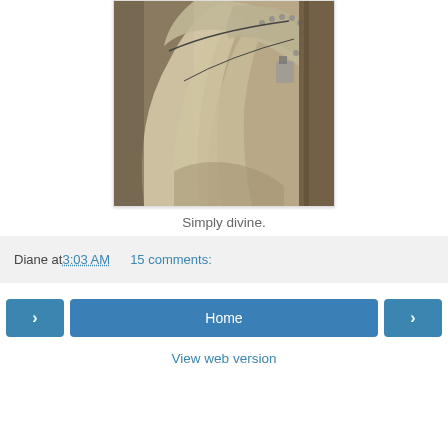[Figure (photo): Close-up photograph of stone or metal sculptural drapery/angel wings with rivets and hardware, appearing to be architectural detail from a church or monument]
Simply divine.
Diane at 3:03 AM   15 comments:
Home
View web version